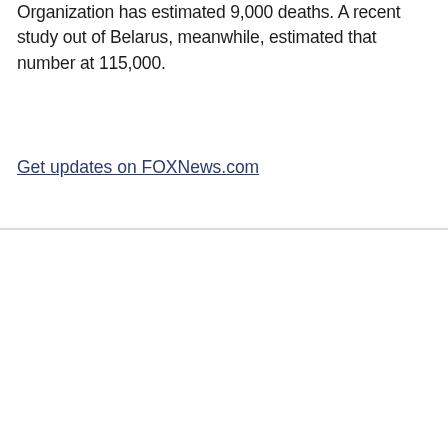Organization has estimated 9,000 deaths. A recent study out of Belarus, meanwhile, estimated that number at 115,000.
Get updates on FOXNews.com